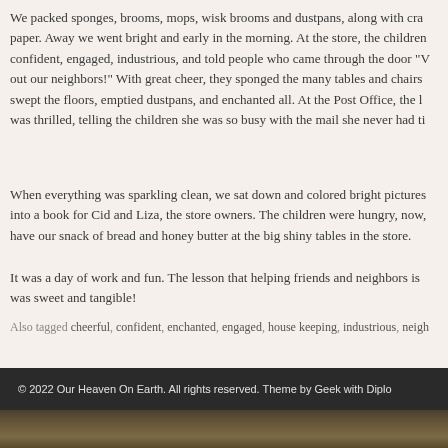We packed sponges, brooms, mops, wisk brooms and dustpans, along with cra paper. Away we went bright and early in the morning. At the store, the children confident, engaged, industrious, and told people who came through the door "V out our neighbors!" With great cheer, they sponged the many tables and chairs swept the floors, emptied dustpans, and enchanted all. At the Post Office, the l was thrilled, telling the children she was so busy with the mail she never had ti
When everything was sparkling clean, we sat down and colored bright pictures into a book for Cid and Liza, the store owners. The children were hungry, now, have our snack of bread and honey butter at the big shiny tables in the store.
It was a day of work and fun. The lesson that helping friends and neighbors is was sweet and tangible!
Also tagged cheerful, confident, enchanted, engaged, house keeping, industrious, neigh sweep, wash – 1 Comment
© 2022 Our Heaven On Earth. All rights reserved. Theme by Geek with Diplo